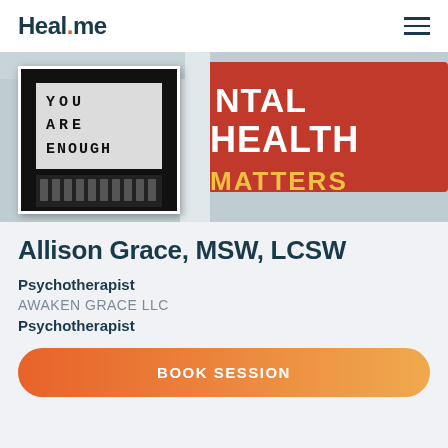Heal.me
[Figure (photo): Banner photo of a mental health sign reading 'MENTAL HEALTH MATTERS' in red with yellow lettering, and a lightbox sign reading 'YOU ARE ENOUGH' on the left side showing the provider's profile image area.]
Allison Grace, MSW, LCSW
Psychotherapist
AWAKEN GRACE LLC
Psychotherapist
BOOK SESSION